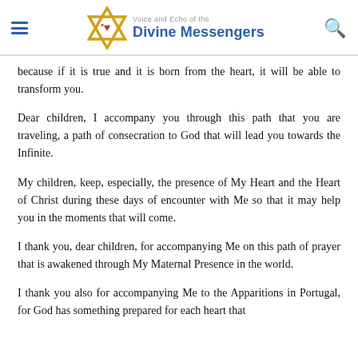Voice and Echo of the Divine Messengers
because if it is true and it is born from the heart, it will be able to transform you.
Dear children, I accompany you through this path that you are traveling, a path of consecration to God that will lead you towards the Infinite.
My children, keep, especially, the presence of My Heart and the Heart of Christ during these days of encounter with Me so that it may help you in the moments that will come.
I thank you, dear children, for accompanying Me on this path of prayer that is awakened through My Maternal Presence in the world.
I thank you also for accompanying Me to the Apparitions in Portugal, for God has something prepared for each heart that